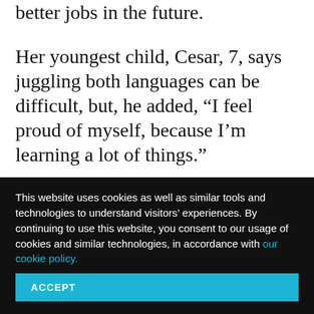better jobs in the future.
Her youngest child, Cesar, 7, says juggling both languages can be difficult, but, he added, “I feel proud of myself, because I’m learning a lot of things.”
Teachers also see benefits for their students. “When you know two languages, that’s
This website uses cookies as well as similar tools and technologies to understand visitors’ experiences. By continuing to use this website, you consent to our usage of cookies and similar technologies, in accordance with our cookie policy.